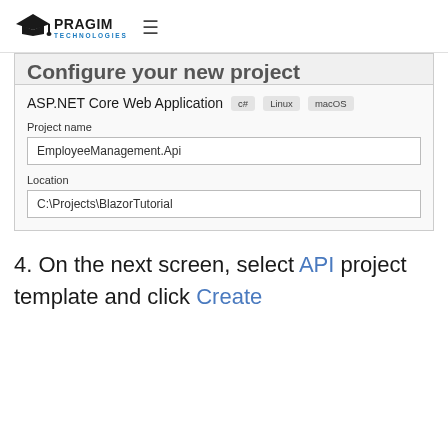PRAGIM TECHNOLOGIES
[Figure (screenshot): Visual Studio 'Configure your new project' dialog showing ASP.NET Core Web Application with C#, Linux, macOS tags, Project name field with 'EmployeeManagement.Api', and Location field with 'C:\Projects\BlazorTutorial']
4. On the next screen, select API project template and click Create